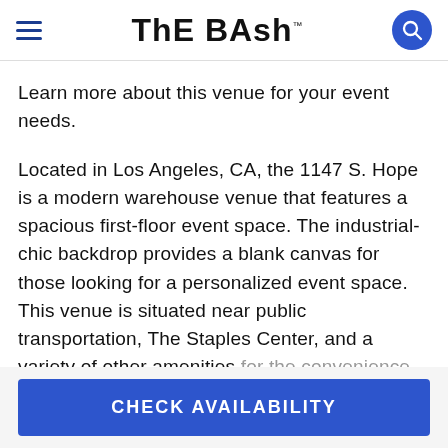THE BASH™
Learn more about this venue for your event needs.
Located in Los Angeles, CA, the 1147 S. Hope is a modern warehouse venue that features a spacious first-floor event space. The industrial-chic backdrop provides a blank canvas for those looking for a personalized event space. This venue is situated near public transportation, The Staples Center, and a variety of other amenities for the convenience of their clients.
CHECK AVAILABILITY